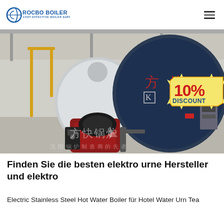ROCBO BOILER — COST-EFFECTIVE BOILER SUPPLIER
[Figure (photo): Industrial boilers in a factory setting, showing large cylindrical boilers with Chinese text markings, yellow gas pipes, red burner unit in foreground, with a 10% DISCOUNT badge overlay in the top right area.]
Finden Sie die besten elektro urne Hersteller und elektro
Electric Stainless Steel Hot Water Boiler für Hotel Water Urn Tea